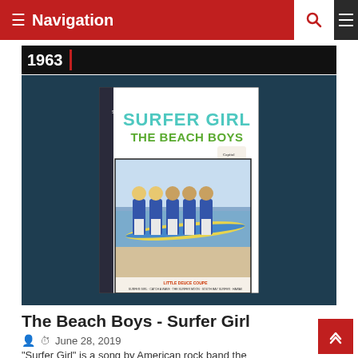≡ Navigation
1963
[Figure (photo): Album cover of 'Surfer Girl' by The Beach Boys (1963) showing the five band members carrying a surfboard on a beach, wearing matching blue blazers and white pants. Text reads 'SURFER GIRL THE BEACH BOYS' at top in teal/green lettering, with 'LITTLE DEUCE COUPE' track listing at bottom.]
The Beach Boys - Surfer Girl
June 28, 2019
"Surfer Girl" is a song by American rock band the